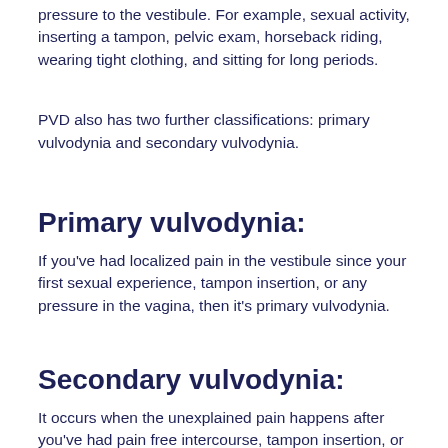pressure to the vestibule. For example, sexual activity, inserting a tampon, pelvic exam, horseback riding, wearing tight clothing, and sitting for long periods.
PVD also has two further classifications: primary vulvodynia and secondary vulvodynia.
Primary vulvodynia:
If you've had localized pain in the vestibule since your first sexual experience, tampon insertion, or any pressure in the vagina, then it's primary vulvodynia.
Secondary vulvodynia:
It occurs when the unexplained pain happens after you've had pain free intercourse, tampon insertion, or any applied